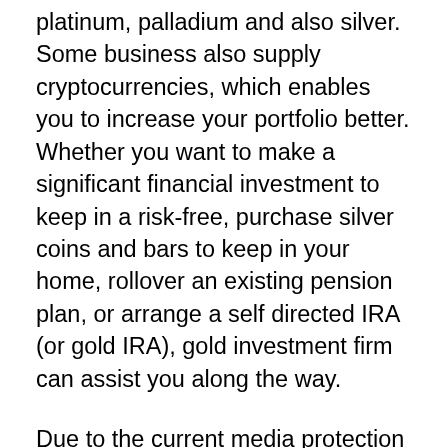platinum, palladium and also silver. Some business also supply cryptocurrencies, which enables you to increase your portfolio better. Whether you want to make a significant financial investment to keep in a risk-free, purchase silver coins and bars to keep in your home, rollover an existing pension plan, or arrange a self directed IRA (or gold IRA), gold investment firm can assist you along the way.
Due to the current media protection rare-earth elements have received, extra companies are beginning to offer services. Obviously, with boosted competition comes better deals for financiers. Nonetheless, many people discover it tough to pick a gold investment company from the large...